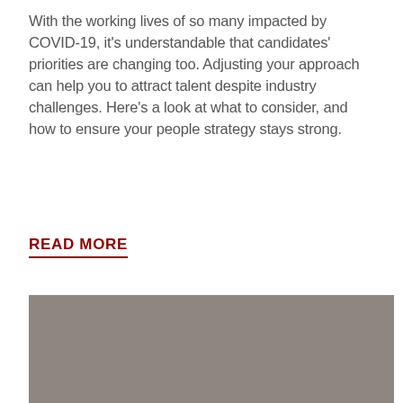With the working lives of so many impacted by COVID-19, it's understandable that candidates' priorities are changing too. Adjusting your approach can help you to attract talent despite industry challenges. Here's a look at what to consider, and how to ensure your people strategy stays strong.
READ MORE
[Figure (photo): A large gray/taupe colored rectangular image placeholder]